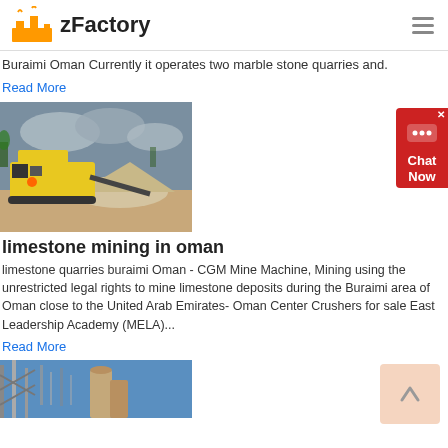zFactory
Buraimi Oman Currently it operates two marble stone quarries and.
Read More
[Figure (photo): Yellow mobile crusher/mining machine on a construction/quarry site with gravel pile, overcast sky]
limestone mining in oman
limestone quarries buraimi Oman - CGM Mine Machine, Mining using the unrestricted legal rights to mine limestone deposits during the Buraimi area of Oman close to the United Arab Emirates- Oman Center Crushers for sale East Leadership Academy (MELA)...
Read More
[Figure (photo): Industrial bridge and silos structures against blue sky]
[Figure (other): Chat Now widget button]
[Figure (other): Scroll to top button with upward arrow]